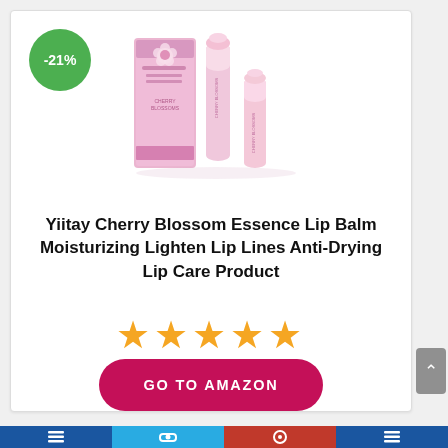[Figure (photo): Product photo of Yiitay Cherry Blossom Essence Lip Balm — pink box and two pink lip balm sticks. A green circular badge shows -21% discount.]
Yiitay Cherry Blossom Essence Lip Balm Moisturizing Lighten Lip Lines Anti-Drying Lip Care Product
[Figure (infographic): Five gold star rating icons]
GO TO AMAZON